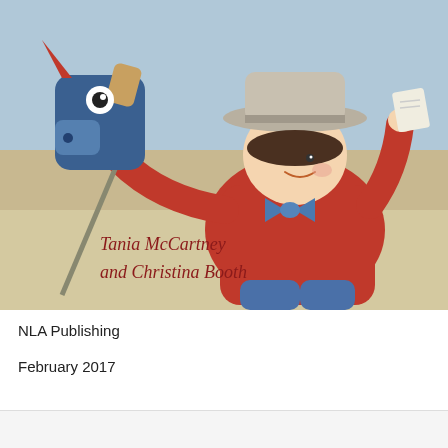[Figure (illustration): Children's book cover illustration showing a boy in a red shirt and gray hat holding a hobby horse puppet (blue dog head on a stick) in one hand and a paper in the other, wearing a blue bow tie. Text on the illustration reads 'Tania McCartney and Christina Booth'. Watercolor style painting with warm beige and blue tones.]
NLA Publishing
February 2017
[Figure (screenshot): WordPress Follow button widget at bottom of page showing a follow icon and the word 'Follow' with a '...' menu button]